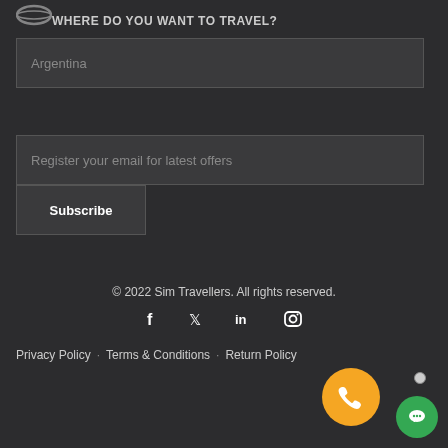[Figure (logo): Sim Travellers logo (oval/wave shape, partially visible at top-left)]
WHERE DO YOU WANT TO TRAVEL?
Argentina
Register your email for latest offers
Subscribe
© 2022 Sim Travellers. All rights reserved.
[Figure (infographic): Social media icons row: Facebook, Twitter, LinkedIn, Instagram]
Privacy Policy · Terms & Conditions · Return Policy
[Figure (infographic): Orange phone call button (circle) and green chat button (circle) in bottom-right corner]